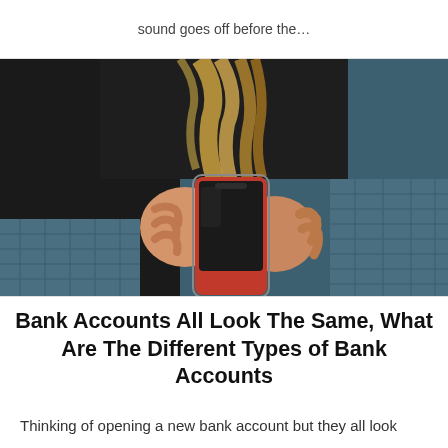sound goes off before the…
[Figure (photo): A person with blonde hair wearing a dark jacket, holding a red smartphone with both hands, sitting on a blue/grey textured blanket or surface. The photo is taken from above, showing the person using their phone.]
Bank Accounts All Look The Same, What Are The Different Types of Bank Accounts
Thinking of opening a new bank account but they all look